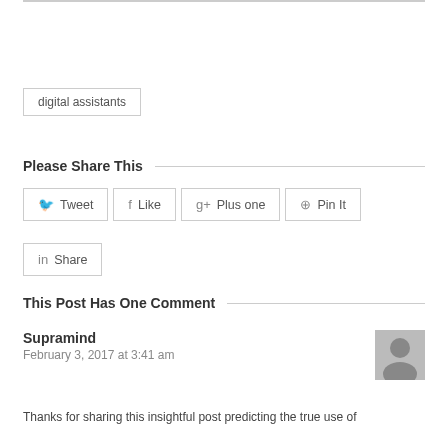digital assistants
Please Share This
Tweet
Like
Plus one
Pin It
Share
This Post Has One Comment
Supramind
February 3, 2017 at 3:41 am
[Figure (photo): User avatar placeholder image (grey silhouette)]
Thanks for sharing this insightful post predicting the true use of